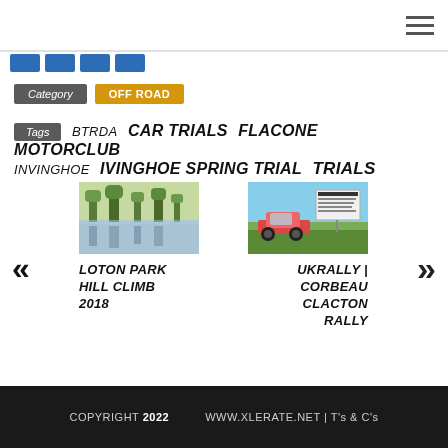[Figure (screenshot): Hamburger menu icon (three horizontal lines) in top-right corner]
[Figure (illustration): Row of blue social media icon buttons]
Category  OFF ROAD
Tags  BTRDA  CAR TRIALS  FLACONE MOTORCLUB  INVINGHOE  IVINGHOE SPRING TRIAL  TRIALS
[Figure (photo): Navigation previous post thumbnail: outdoor nature scene with trees and water reflection]
LOTON PARK HILL CLIMB 2018
[Figure (photo): Navigation next post thumbnail: rally car in field with sign board]
UKRALLY | CORBEAU CLACTON RALLY
COPYRIGHT 2022   WWW.XLERATE.NET | T's & C's